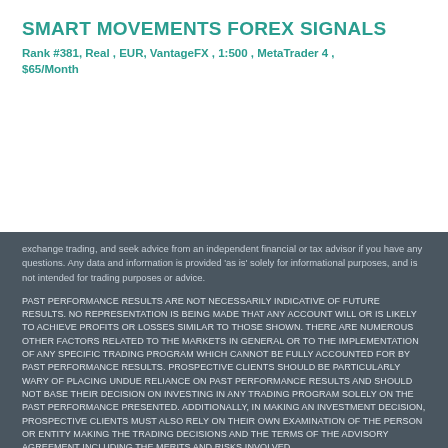SMART MOVEMENTS FOREX SIGNALS
Rank #381, Real , EUR, VantageFX , 1:500 , MetaTrader 4 , $65/Month
Copy
exchange trading, and seek advice from an independent financial or tax advisor if you have any questions. Any data and information is provided 'as is' solely for informational purposes, and is not intended for trading purposes or advice.
PAST PERFORMANCE RESULTS ARE NOT NECESSARILY INDICATIVE OF FUTURE RESULTS. NO REPRESENTATION IS BEING MADE THAT ANY ACCOUNT WILL OR IS LIKELY TO ACHIEVE PROFITS OR LOSSES SIMILAR TO THOSE SHOWN. THERE ARE NUMEROUS OTHER FACTORS RELATED TO THE MARKETS IN GENERAL OR TO THE IMPLEMENTATION OF ANY SPECIFIC TRADING PROGRAM WHICH CANNOT BE FULLY ACCOUNTED FOR BY PAST PERFORMANCE RESULTS. PROSPECTIVE CLIENTS SHOULD BE PARTICULARLY WARY OF PLACING UNDUE RELIANCE ON PAST PERFORMANCE RESULTS AND SHOULD NOT BASE THEIR DECISION ON INVESTING IN ANY TRADING PROGRAM SOLELY ON THE PAST PERFORMANCE PRESENTED. ADDITIONALLY, IN MAKING AN INVESTMENT DECISION, PROSPECTIVE CLIENTS MUST ALSO RELY ON THEIR OWN EXAMINATION OF THE PERSON OR ENTITY MAKING THE TRADING DECISIONS AND THE TERMS OF THE ADVISORY AGREEMENT INCLUDING THE MERITS AND RISKS INVOLVED.